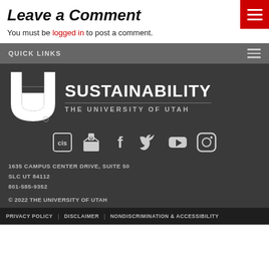Leave a Comment
You must be logged in to post a comment.
QUICK LINKS
[Figure (logo): University of Utah Sustainability logo — block U mark with SUSTAINABILITY and THE UNIVERSITY OF UTAH text]
[Figure (infographic): Social media icons: CIS, email/mailbox, Facebook, Twitter, YouTube, Instagram]
1635 CAMPUS CENTER DRIVE, SUITE 50
SLC UT 84112
801-585-9352
© 2022 THE UNIVERSITY OF UTAH
PRIVACY POLICY | DISCLAIMER | NONDISCRIMINATION & ACCESSIBILITY